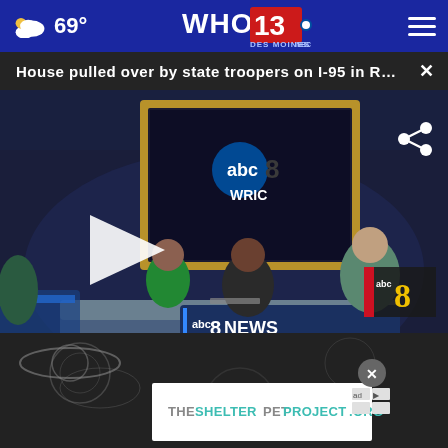69° WHO 13 Des Moines NBC
House pulled over by state troopers on I-95 in Rich...
[Figure (screenshot): News broadcast video still showing two anchors at a desk with 'abc8NEWS WRIC' branding, with a reporter visible on a screen behind them. A play button overlay is visible on the left side.]
[Figure (advertisement): Advertisement for THESHELTERPETPROJECT.ORG with ad choices and partner logos]